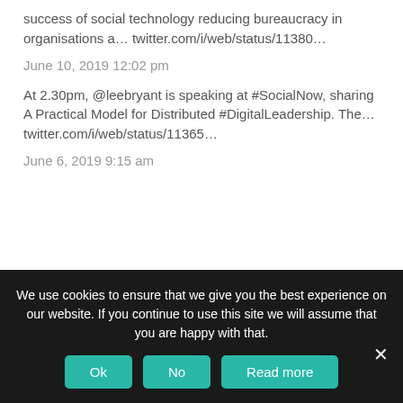success of social technology reducing bureaucracy in organisations a… twitter.com/i/web/status/11380…
June 10, 2019 12:02 pm
At 2.30pm, @leebryant is speaking at #SocialNow, sharing A Practical Model for Distributed #DigitalLeadership. The… twitter.com/i/web/status/11365…
June 6, 2019 9:15 am
We use cookies to ensure that we give you the best experience on our website. If you continue to use this site we will assume that you are happy with that.